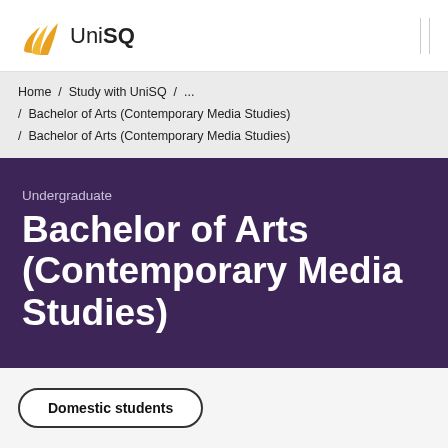UniSQ
Home / Study with UniSQ / ... / Bachelor of Arts (Contemporary Media Studies) / Bachelor of Arts (Contemporary Media Studies)
Undergraduate
Bachelor of Arts (Contemporary Media Studies)
Domestic students